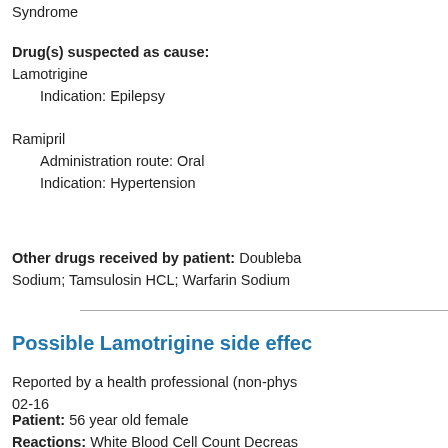Syndrome
Drug(s) suspected as cause:
Lamotrigine
    Indication: Epilepsy

Ramipril
    Administration route: Oral
    Indication: Hypertension
Other drugs received by patient: Doubleba... Sodium; Tamsulosin HCL; Warfarin Sodium
Possible Lamotrigine side effec...
Reported by a health professional (non-phys... 02-16
Patient: 56 year old female
Reactions: White Blood Cell Count Decreas... Sensorimotor Neuropathy, Neutropenic Seps... Pyrexia